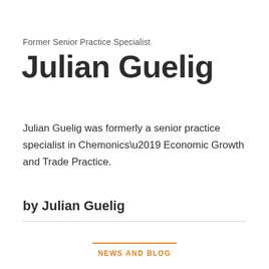Former Senior Practice Specialist
Julian Guelig
Julian Guelig was formerly a senior practice specialist in Chemonics’ Economic Growth and Trade Practice.
by Julian Guelig
NEWS AND BLOG